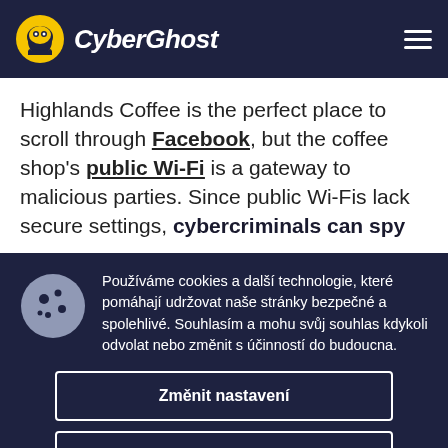CyberGhost
Highlands Coffee is the perfect place to scroll through Facebook, but the coffee shop's public Wi-Fi is a gateway to malicious parties. Since public Wi-Fis lack secure settings, cybercriminals can spy
Používáme cookies a další technologie, které pomáhají udržovat naše stránky bezpečné a spolehlivé. Souhlasím a mohu svůj souhlas kdykoli odvolat nebo změnit s účinností do budoucna.
Změnit nastavení
Přijmout všechny Cookies